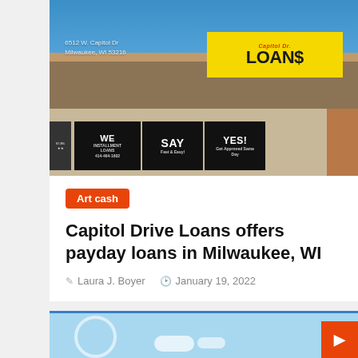[Figure (photo): Exterior photo of Capitol Dr. Loans storefront at 6512 W. Capitol Dr, Milwaukee, WI 53216. Yellow sign reads 'Capitol Dr. LOAN$'. Window signs read 'WE SAY YES! INSTALLMENT LOANS 414-464-1602 Fast & Easy! Get Approved Same Day'.]
Art cash
Capitol Drive Loans offers payday loans in Milwaukee, WI
Laura J. Boyer   January 19, 2022
[Figure (illustration): Partial view of a second article card with blue sky and clouds illustration background.]